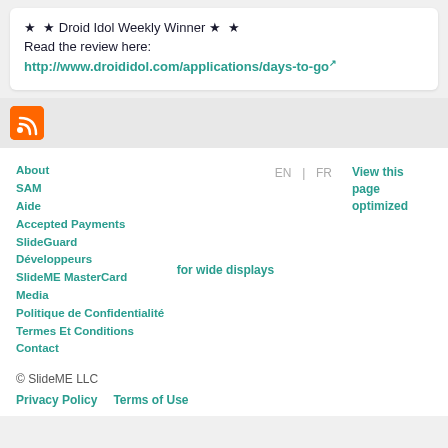★ ★ Droid Idol Weekly Winner ★ ★
Read the review here:
http://www.droididol.com/applications/days-to-go
[Figure (logo): RSS feed orange icon button]
About
SAM
Aide
Accepted Payments
SlideGuard
Développeurs
SlideME MasterCard
Media
Politique de Confidentialité
Termes Et Conditions
Contact
EN | FR
View this page optimized for wide displays
© SlideME LLC
Privacy Policy
Terms of Use